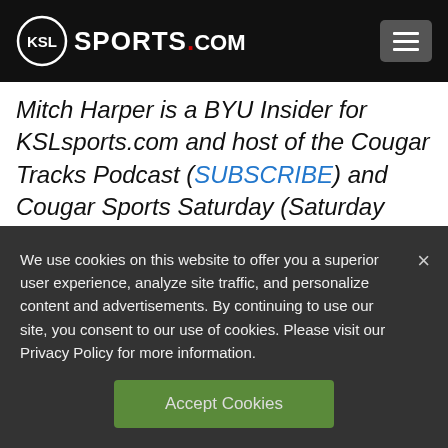KSL SPORTS.COM
Mitch Harper is a BYU Insider for KSLsports.com and host of the Cougar Tracks Podcast (SUBSCRIBE) and Cougar Sports Saturday (Saturday from 12-3 pm) on KSL Newsradio. Follow him on
We use cookies on this website to offer you a superior user experience, analyze site traffic, and personalize content and advertisements. By continuing to use our site, you consent to our use of cookies. Please visit our Privacy Policy for more information.
Accept Cookies